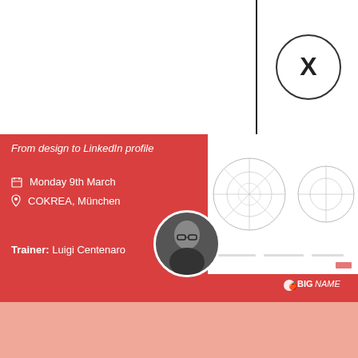[Figure (other): Close button circle with X in upper right area]
From design to LinkedIn profile
Monday 9th March
COKREA, München
[Figure (photo): Circular portrait photo of trainer Luigi Centenaro, a bald man with glasses]
Trainer: Luigi Centenaro
[Figure (infographic): Preview thumbnail of a canvas/worksheet with circles and diagrams]
[Figure (logo): BigNAME logo in bottom right of red banner]